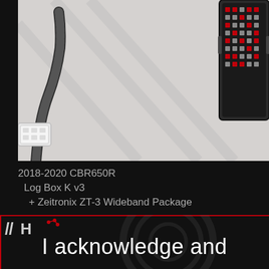[Figure (photo): Product photo showing cable harness connector on left and a multi-pin ECU connector on right, against a light gray background]
2018-2020 CBR650R
   Log Box K v3
    + Zeitronix ZT-3 Wideband Package
[Figure (logo): HEX or HP Tuners style logo with circuit board motif in red and white, partially visible]
I acknowledge and